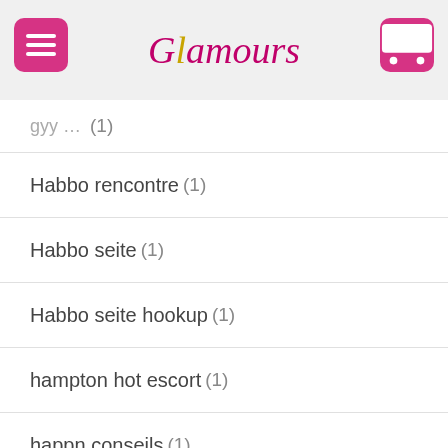Glamours
Habbo rencontre (1)
Habbo seite (1)
Habbo seite hookup (1)
hampton hot escort (1)
happn conseils (1)
hartford review (1)
Heated Affairs seite hookup (1)
Heated Affairs visitors (1)
Her Related Site (1)
Herseite (1)